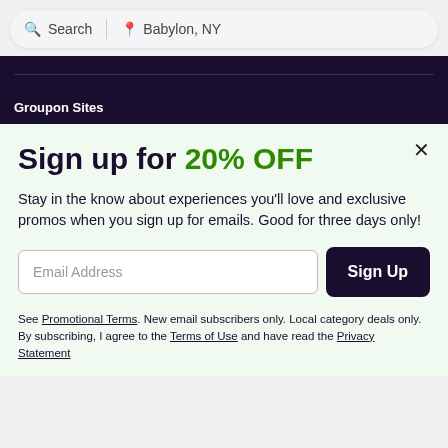Search | Babylon, NY
Groupon Sites
Sign up for 20% OFF
Stay in the know about experiences you'll love and exclusive promos when you sign up for emails. Good for three days only!
Email Address
Sign Up
See Promotional Terms. New email subscribers only. Local category deals only. By subscribing, I agree to the Terms of Use and have read the Privacy Statement